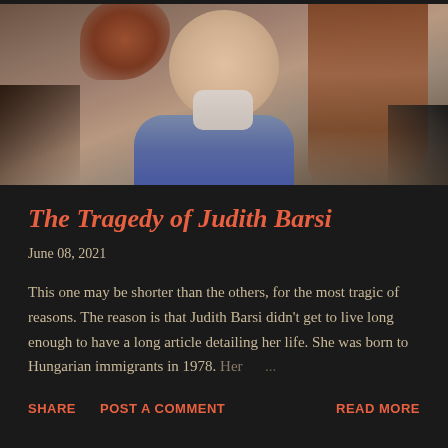[Figure (photo): Portrait photograph of a young girl (Judith Barsi) with reddish-brown hair, wearing a light blue sweater and white collared shirt, against a brown background]
The Tragedy of Judith Barsi
June 08, 2021
This one may be shorter than the others, for the most tragic of reasons. The reason is that Judith Barsi didn't get to live long enough to have a long article detailing her life. She was born to Hungarian immigrants in 1978. Her ...
SHARE  POST A COMMENT  READ MORE